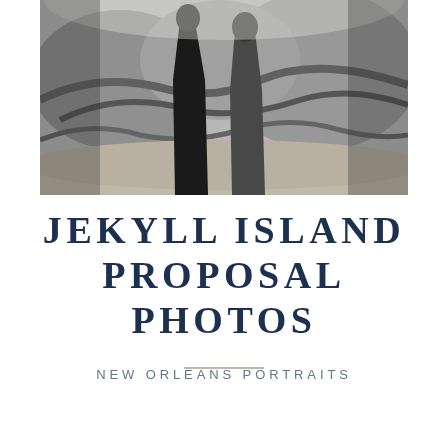[Figure (photo): Black and white photograph of two people standing outdoors with driftwood and trees in the background, likely on Jekyll Island beach]
JEKYLL ISLAND PROPOSAL PHOTOS
NEW ORLEANS PORTRAITS